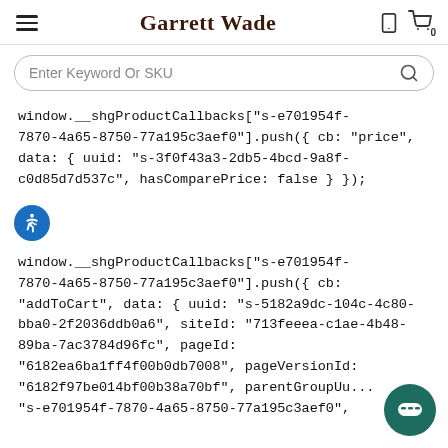Garrett Wade
Enter Keyword Or SKU
window.__shgProductCallbacks["s-e701954f-7870-4a65-8750-77a195c3aef0"].push({ cb: "price", data: { uuid: "s-3f0f43a3-2db5-4bcd-9a8f-c0d85d7d537c", hasComparePrice: false } });
[Figure (illustration): Accessibility icon - blue circle with white person figure]
window.__shgProductCallbacks["s-e701954f-7870-4a65-8750-77a195c3aef0"].push({ cb: "addToCart", data: { uuid: "s-5182a9dc-104c-4c80-bba0-2f2036ddb0a6", siteId: "713feeea-c1ae-4b48-89ba-7ac3784d96fc", pageId: "6182ea6ba1ff4f00b0db7008", pageVersionId: "6182f97be014bf00b38a70bf", parentGroupUu... "s-e701954f-7870-4a65-8750-77a195c3aef0",